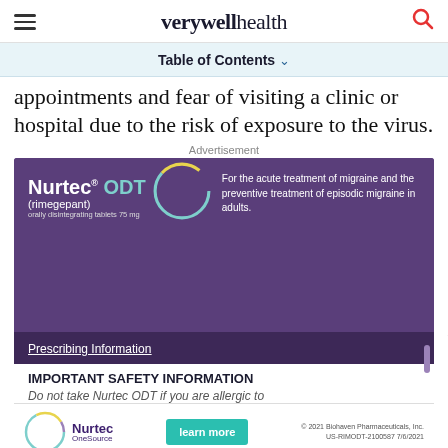verywell health
Table of Contents ▾
appointments and fear of visiting a clinic or hospital due to the risk of exposure to the virus.
Advertisement
[Figure (photo): Nurtec ODT (rimegepant) advertisement banner. Purple background with Nurtec ODT logo on left, text reading 'For the acute treatment of migraine and the preventive treatment of episodic migraine in adults.' on right. Below: dark purple bar with 'Prescribing Information' link. White section with 'IMPORTANT SAFETY INFORMATION' heading and partial text 'Do not take Nurtec ODT if you are allergic to'. Bottom bar shows Nurtec OneSource logo, learn more button, and copyright 2021 Biohaven Pharmaceuticals, Inc. US-RIMODT-2100587 7/6/2021]
Ad